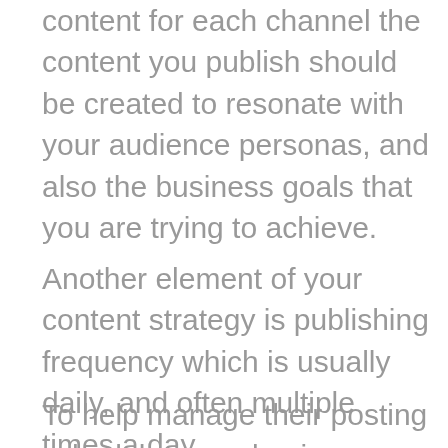content for each channel the content you publish should be created to resonate with your audience personas, and also the business goals that you are trying to achieve.
Another element of your content strategy is publishing frequency which is usually daily, and often multiple times a day.
To help manage their posting schedule many businesses use social media tools like Tailor Social to manage their presence on different platforms.